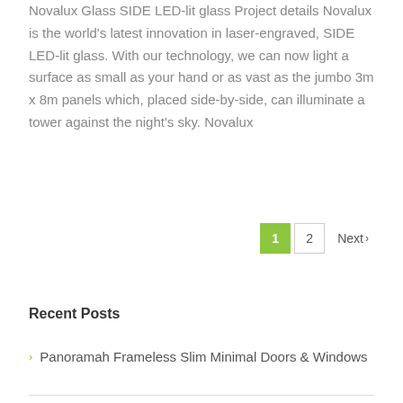Novalux Glass SIDE LED-lit glass Project details Novalux is the world's latest innovation in laser-engraved, SIDE LED-lit glass. With our technology, we can now light a surface as small as your hand or as vast as the jumbo 3m x 8m panels which, placed side-by-side, can illuminate a tower against the night's sky. Novalux
1 2 Next ›
Recent Posts
› Panoramah Frameless Slim Minimal Doors & Windows